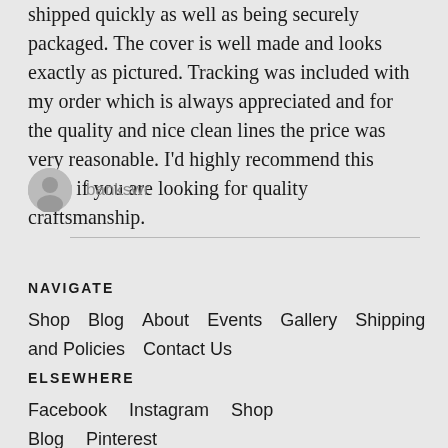shipped quickly as well as being securely packaged. The cover is well made and looks exactly as pictured. Tracking was included with my order which is always appreciated and for the quality and nice clean lines the price was very reasonable. I'd highly recommend this seller if you are looking for quality craftsmanship.
bankswr
NAVIGATE
Shop   Blog   About   Events   Gallery   Shipping and Policies   Contact Us
ELSEWHERE
Facebook   Instagram   Shop Blog   Pinterest